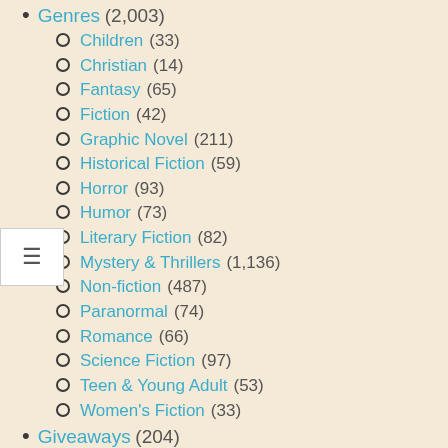Genres (2,003)
Children (33)
Christian (14)
Fantasy (65)
Fiction (42)
Graphic Novel (211)
Historical Fiction (59)
Horror (93)
Humor (73)
Literary Fiction (82)
Mystery & Thrillers (1,136)
Non-fiction (487)
Paranormal (74)
Romance (66)
Science Fiction (97)
Teen & Young Adult (53)
Women's Fiction (33)
Giveaways (204)